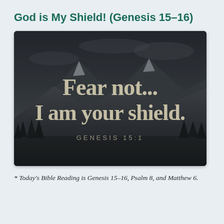God is My Shield! (Genesis 15–16)
[Figure (illustration): Dark grayscale mountain landscape photograph with large serif text overlay reading 'Fear not... I am your shield.' and smaller spaced-letter text 'GENESIS 15:1' below]
* Today's Bible Reading is Genesis 15–16, Psalm 8, and Matthew 6.